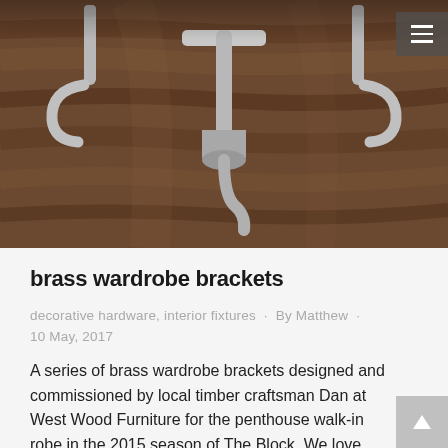[Figure (photo): Close-up photo of brass wardrobe brackets mounted on dark walnut wood. Three metal hooks/brackets visible — one large central bracket and two smaller ones on sides, all silver/brushed metal color against dark brown wood grain background.]
brass wardrobe brackets
decorative hardware, interior fixtures · By Matthew · 10 May, 2017
A series of brass wardrobe brackets designed and commissioned by local timber craftsman Dan at West Wood Furniture for the penthouse walk-in robe in the 2015 season of The Block. We love